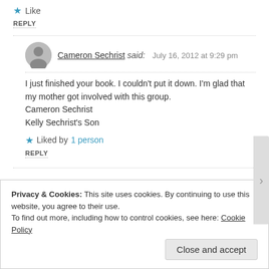★ Like
REPLY
Cameron Sechrist said: July 16, 2012 at 9:29 pm
I just finished your book. I couldn't put it down. I'm glad that my mother got involved with this group.
Cameron Sechrist
Kelly Sechrist's Son
★ Liked by 1 person
REPLY
Privacy & Cookies: This site uses cookies. By continuing to use this website, you agree to their use.
To find out more, including how to control cookies, see here: Cookie Policy
Close and accept